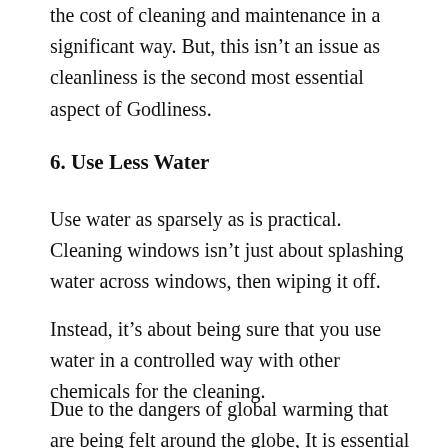the cost of cleaning and maintenance in a significant way. But, this isn't an issue as cleanliness is the second most essential aspect of Godliness.
6. Use Less Water
Use water as sparsely as is practical. Cleaning windows isn't just about splashing water across windows, then wiping it off.
Instead, it's about being sure that you use water in a controlled way with other chemicals for the cleaning.
Due to the dangers of global warming that are being felt around the globe, It is essential for us to make sure that our water resources are utilized properly and not